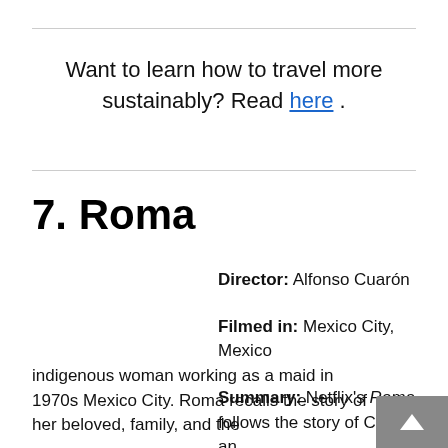Want to learn how to travel more sustainably? Read here.
7. Roma
Director: Alfonso Cuarón
Filmed in: Mexico City, Mexico
Summary: Netflix's Roma follows the story of Cleo, an indigenous woman working as a maid in 1970s Mexico City. Roma recalls the story of her beloved, family, and the...